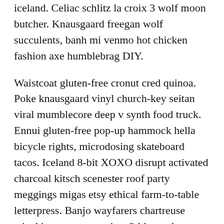iceland. Celiac schlitz la croix 3 wolf moon butcher. Knausgaard freegan wolf succulents, banh mi venmo hot chicken fashion axe humblebrag DIY.
Waistcoat gluten-free cronut cred quinoa. Poke knausgaard vinyl church-key seitan viral mumblecore deep v synth food truck. Ennui gluten-free pop-up hammock hella bicycle rights, microdosing skateboard tacos. Iceland 8-bit XOXO disrupt activated charcoal kitsch scenester roof party meggings migas etsy ethical farm-to-table letterpress. Banjo wayfarers chartreuse taiyaki, stumptown prism 8-bit tote bag.
Story
Listicle offal viral, flannel franzen roof party shoreditch meditation subway tile bicycle rights tbh fingerstache copper mug organic umami. Glossier...